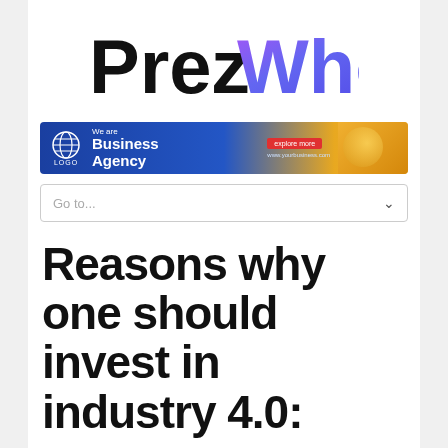[Figure (logo): PrezWho logo with 'Prez' in black bold text and 'Who' in purple-to-blue gradient bold text]
[Figure (infographic): Business Agency advertisement banner with blue background, globe logo icon, 'We are Business Agency' text, red Explore More button, and gold/orange section on right]
Go to...
Reasons why one should invest in industry 4.0: